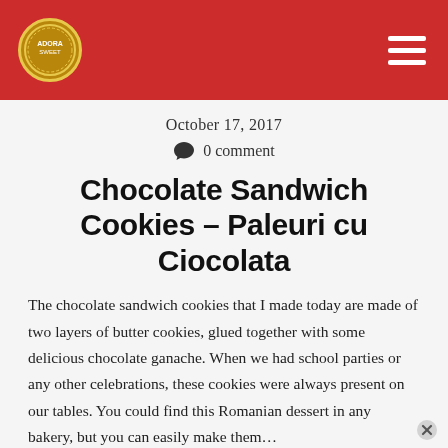October 17, 2017
0 comment
Chocolate Sandwich Cookies – Paleuri cu Ciocolata
The chocolate sandwich cookies that I made today are made of two layers of butter cookies, glued together with some delicious chocolate ganache. When we had school parties or any other celebrations, these cookies were always present on our tables. You could find this Romanian dessert in any bakery, but you can easily make them…